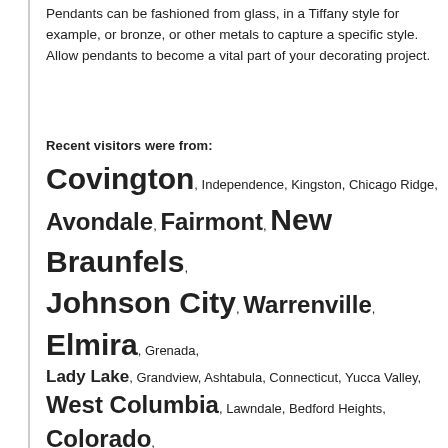Pendants can be fashioned from glass, in a Tiffany style for example, or bronze, or other metals to capture a specific style. Allow pendants to become a vital part of your decorating project.
Recent visitors were from: Covington, Independence, Kingston, Chicago Ridge, Avondale, Fairmont, New Braunfels, Johnson City, Warrenville, Elmira, Grenada, Lady Lake, Grandview, Ashtabula, Connecticut, Yucca Valley, West Columbia, Lawndale, Bedford Heights, Colorado, Covina, Indiana, Everett, Bristol, Katy, Herndon, Coral Gables, Hillsborough, Ohio, Kansas, New Ulm, Minnesota, California, Sioux City, Sachse, Thomasville, Hollister, Excelsior Springs, Miami Springs, Neosho, Lauderhill, Guam, Haddonfield, Conneaut, Cooper City, Harrison, Jasper, Hickory, Oakland, Grafton, Clayton, Urbandale, Monroe, Delaware, New Carrollton, Cedar...